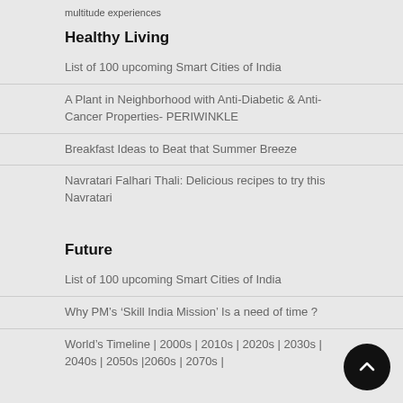multitude experiences
Healthy Living
List of 100 upcoming Smart Cities of India
A Plant in Neighborhood with Anti-Diabetic & Anti-Cancer Properties- PERIWINKLE
Breakfast Ideas to Beat that Summer Breeze
Navratari Falhari Thali: Delicious recipes to try this Navratari
Future
List of 100 upcoming Smart Cities of India
Why PM’s ‘Skill India Mission’ Is a need of time ?
World’s Timeline | 2000s | 2010s | 2020s | 2030s | 2040s | 2050s |2060s | 2070s |